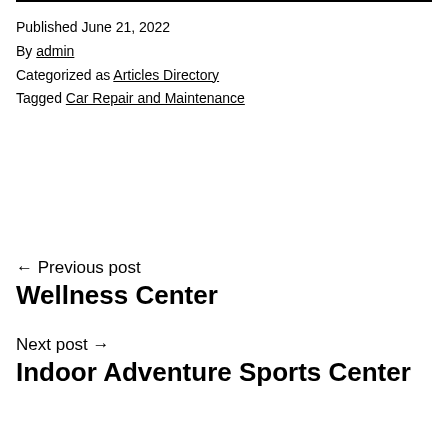Published June 21, 2022
By admin
Categorized as Articles Directory
Tagged Car Repair and Maintenance
← Previous post
Wellness Center
Next post →
Indoor Adventure Sports Center